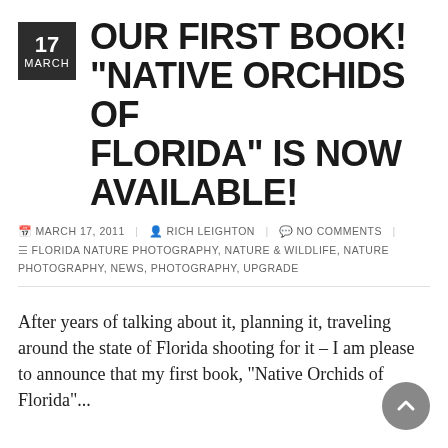OUR FIRST BOOK! “NATIVE ORCHIDS OF FLORIDA” IS NOW AVAILABLE!
MARCH 17, 2011 | RICH LEIGHTON | NO COMMENTS | FLORIDA NATURE PHOTOGRAPHY, NATURE & WILDLIFE, NATURE PHOTOGRAPHY, NEWS, PHOTOGRAPHY, UPGRADE
After years of talking about it, planning it, traveling around the state of Florida shooting for it – I am please to announce that my first book, “Native Orchids of Florida”...